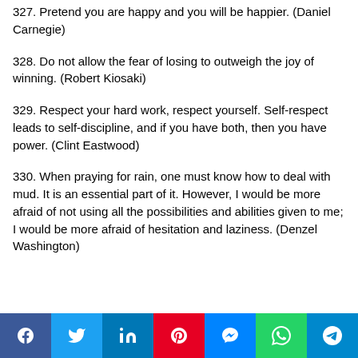327. Pretend you are happy and you will be happier. (Daniel Carnegie)
328. Do not allow the fear of losing to outweigh the joy of winning. (Robert Kiosaki)
329. Respect your hard work, respect yourself. Self-respect leads to self-discipline, and if you have both, then you have power. (Clint Eastwood)
330. When praying for rain, one must know how to deal with mud. It is an essential part of it. However, I would be more afraid of not using all the possibilities and abilities given to me; I would be more afraid of hesitation and laziness. (Denzel Washington)
Social share buttons: Facebook, Twitter, LinkedIn, Pinterest, Messenger, WhatsApp, Telegram